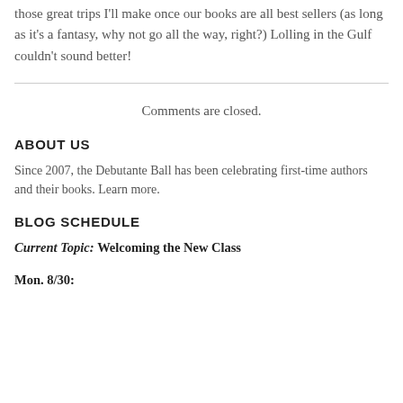those great trips I'll make once our books are all best sellers (as long as it's a fantasy, why not go all the way, right?) Lolling in the Gulf couldn't sound better!
Comments are closed.
ABOUT US
Since 2007, the Debutante Ball has been celebrating first-time authors and their books. Learn more.
BLOG SCHEDULE
Current Topic: Welcoming the New Class
Mon. 8/30: